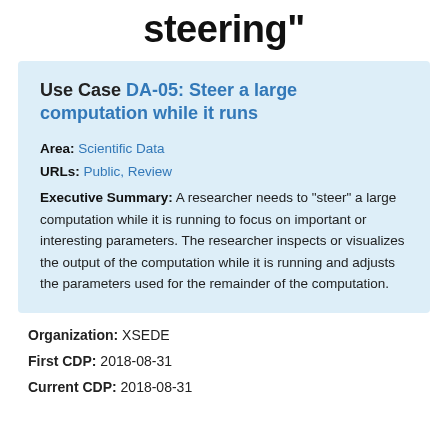steering"
Use Case DA-05: Steer a large computation while it runs
Area: Scientific Data
URLs: Public, Review
Executive Summary: A researcher needs to “steer” a large computation while it is running to focus on important or interesting parameters. The researcher inspects or visualizes the output of the computation while it is running and adjusts the parameters used for the remainder of the computation.
Organization: XSEDE
First CDP: 2018-08-31
Current CDP: 2018-08-31